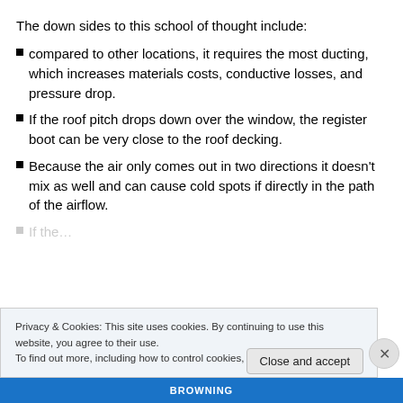The down sides to this school of thought include:
compared to other locations, it requires the most ducting, which increases materials costs, conductive losses, and pressure drop.
If the roof pitch drops down over the window, the register boot can be very close to the roof decking.
Because the air only comes out in two directions it doesn't mix as well and can cause cold spots if directly in the path of the airflow.
Privacy & Cookies: This site uses cookies. By continuing to use this website, you agree to their use.
To find out more, including how to control cookies, see here: Cookie Policy